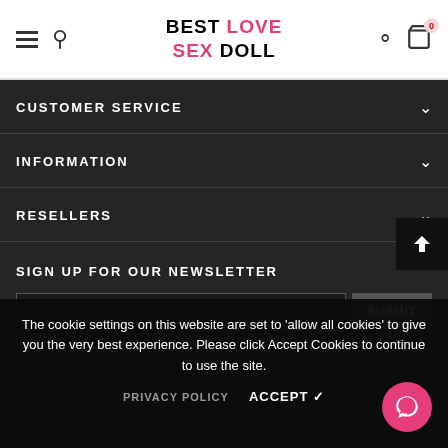BEST LOVE SEX DOLL
CUSTOMER SERVICE
INFORMATION
RESELLERS
SIGN UP FOR OUR NEWSLETTER
The cookie settings on this website are set to 'allow all cookies' to give you the very best experience. Please click Accept Cookies to continue to use the site.
PRIVACY POLICY    ACCEPT ✓